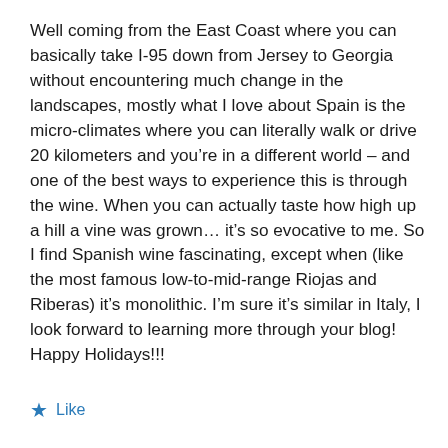Well coming from the East Coast where you can basically take I-95 down from Jersey to Georgia without encountering much change in the landscapes, mostly what I love about Spain is the micro-climates where you can literally walk or drive 20 kilometers and you're in a different world – and one of the best ways to experience this is through the wine. When you can actually taste how high up a hill a vine was grown… it's so evocative to me. So I find Spanish wine fascinating, except when (like the most famous low-to-mid-range Riojas and Riberas) it's monolithic. I'm sure it's similar in Italy, I look forward to learning more through your blog! Happy Holidays!!!
Like